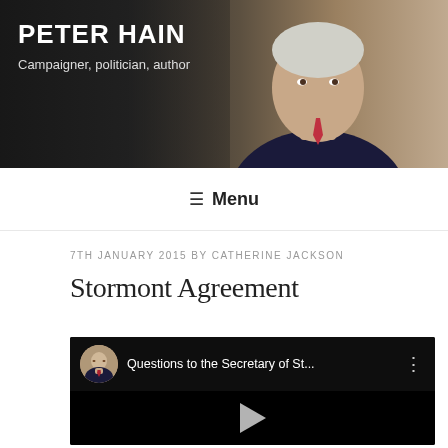PETER HAIN
Campaigner, politician, author
≡ Menu
7TH JANUARY 2015 BY CATHERINE JACKSON
Stormont Agreement
[Figure (screenshot): YouTube video embed showing 'Questions to the Secretary of St...' with a circular avatar thumbnail of Peter Hain, a play button in the center, and a three-dot menu icon.]